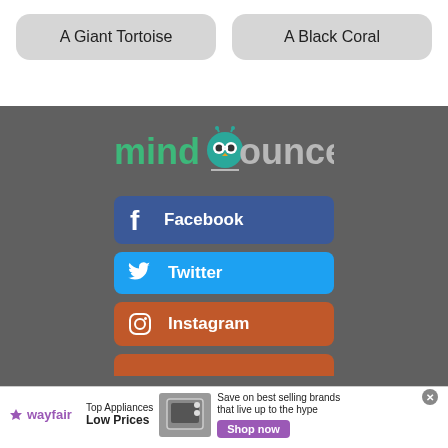A Giant Tortoise
A Black Coral
[Figure (logo): mindbounce logo with owl face icon in teal, text 'mind' in green and 'bounce' in light gray]
[Figure (infographic): Social media buttons: Facebook (dark blue), Twitter (light blue), Instagram (orange), and a partial orange button at the bottom]
[Figure (infographic): Wayfair advertisement banner: Top Appliances Low Prices, Save on best selling brands that live up to the hype, Shop now button]